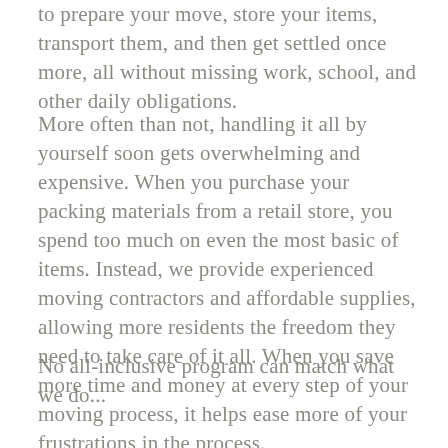to prepare your move, store your items, transport them, and then get settled once more, all without missing work, school, and other daily obligations.
More often than not, handling it all by yourself soon gets overwhelming and expensive. When you purchase your packing materials from a retail store, you spend too much on even the most basic of items. Instead, we provide experienced moving contractors and affordable supplies, allowing more residents the freedom they need to take care of it all. When you save more time and money at every step of your moving process, it helps ease more of your frustrations in the process.
Why should you continue struggling with all of your moving day antics when there's a fast, affordable, and friendly solution? Call us today and experience the better way to relocate your belongings.
No all-inclusive program can match what we do...